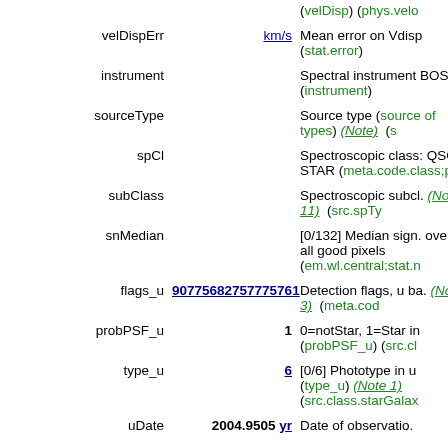| Name | Value | Description |
| --- | --- | --- |
| velDispErr | km/s | (velDisp) (phys.velo... (stat.error) |
| instrument |  | Spectral instrument BOSS) (instrument) |
| sourceType |  | Source type (source... of types) (Note) (s... |
| spCl |  | Spectroscopic class: QSO, STAR (meta.code.class;pos... |
| subClass |  | Spectroscopic subcl... (Note 11)  (src.spTy... |
| snMedian |  | [0/132] Median sign... over all good pixels (em.wl.central;stat.n... |
| flags_u | 90775682757757761 | Detection flags, u ba... (Note 3)  (meta.cod... |
| probPSF_u | 1 | 0=notStar, 1=Star i... (probPSF_u) (src.cl... |
| type_u | 6 | [0/6] Phototype in u... (type_u) (Note 1) (src.class.starGalax... |
| uDate | 2004.9505 yr | Date of observatio... |